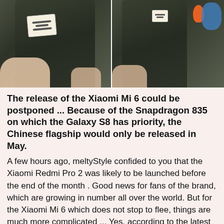[Figure (photo): Two side-by-side photos of a dark green/black smartphone (Xiaomi Mi 6 prototype) being held by hand, with white sticker labels on the back. The right half shows the phone against a plain background with an orange cap and blue bottle visible.]
The release of the Xiaomi Mi 6 could be postponed ... Because of the Snapdragon 835 on which the Galaxy S8 has priority, the Chinese flagship would only be released in May.
A few hours ago, meltyStyle confided to you that the Xiaomi Redmi Pro 2 was likely to be launched before the end of the month . Good news for fans of the brand, which are growing in number all over the world. But for the Xiaomi Mi 6 which does not stop to flee, things are much more complicated ... Yes, according to the latest rumor, the Chinese flagship will not land on the market before the month of May . Why such a delay? Because the Snapdragon 835 must be equipped is reserved for Samsung, and that it will have to wait until the Galaxy S8 is